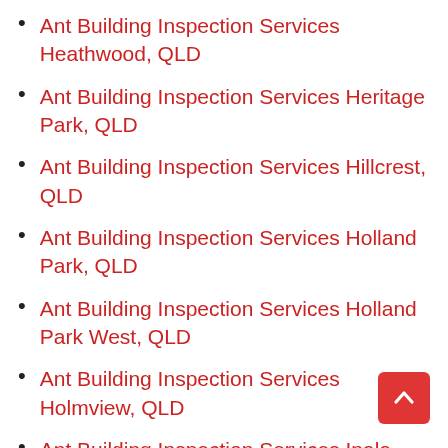Ant Building Inspection Services Heathwood, QLD
Ant Building Inspection Services Heritage Park, QLD
Ant Building Inspection Services Hillcrest, QLD
Ant Building Inspection Services Holland Park, QLD
Ant Building Inspection Services Holland Park West, QLD
Ant Building Inspection Services Holmview, QLD
Ant Building Inspection Services Inala, QLD
Ant Building Inspection Services Jacobs Well, QLD
Ant Building Inspection Services Jimboomba, QLD
Ant Building Inspection Services Karawatha, QLD
Ant Building Inspection Services Karragarra Island, QLD
Ant Building Inspection Services Kingsholme, QLD
Ant Building Inspection Services Kingston, QLD